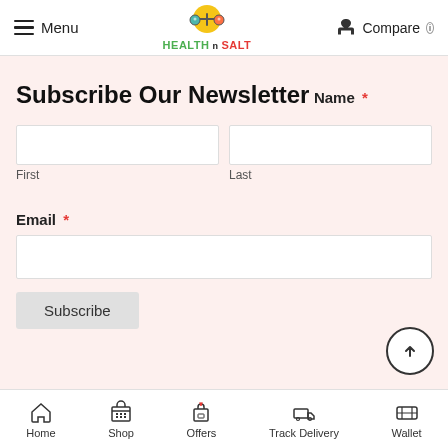Menu | HEALTH n SALT | Compare
Subscribe Our Newsletter
Name *
First
Last
Email *
Subscribe
Home | Shop | Offers | Track Delivery | Wallet